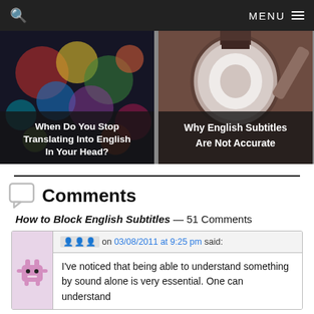🔍  MENU ≡
[Figure (photo): Left card: colorful bokeh/abstract light photo with overlay text 'When Do You Stop Translating Into English In Your Head?']
[Figure (photo): Right card: djembe drum being played, with overlay text 'Why English Subtitles Are Not Accurate']
Comments
How to Block English Subtitles — 51 Comments
??? on 03/08/2011 at 9:25 pm said:
I've noticed that being able to understand something by sound alone is very essential. One can understand